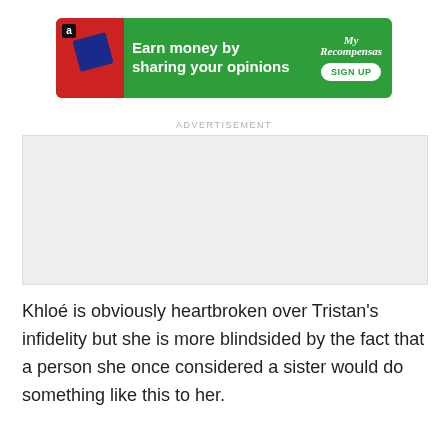[Figure (other): Green advertisement banner: 'Earn money by sharing your opinions' with Amazon logo, person image, My Recompensas logo, and SIGN UP button]
ADVERTISEMENT
[Figure (other): Empty grey advertisement placeholder box]
Khloé is obviously heartbroken over Tristan's infidelity but she is more blindsided by the fact that a person she once considered a sister would do something like this to her.